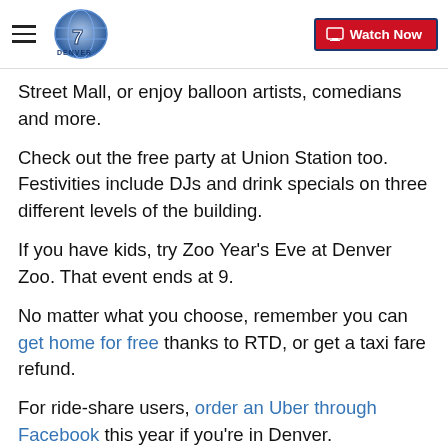Denver 7 | Watch Now
Street Mall, or enjoy balloon artists, comedians and more.
Check out the free party at Union Station too. Festivities include DJs and drink specials on three different levels of the building.
If you have kids, try Zoo Year's Eve at Denver Zoo. That event ends at 9.
No matter what you choose, remember you can get home for free thanks to RTD, or get a taxi fare refund.
For ride-share users, order an Uber through Facebook this year if you're in Denver.